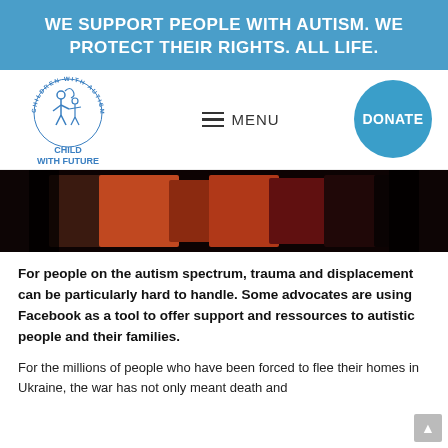WE SUPPORT PEOPLE WITH AUTISM. WE PROTECT THEIR RIGHTS. ALL LIFE.
[Figure (logo): Children With Autism Support Foundation logo — circular text around figure of adult and child, with text CHILD WITH FUTURE below]
MENU
[Figure (other): Round blue DONATE button]
[Figure (photo): Dark photo strip showing children in colorful clothing]
For people on the autism spectrum, trauma and displacement can be particularly hard to handle. Some advocates are using Facebook as a tool to offer support and ressources to autistic people and their families.
For the millions of people who have been forced to flee their homes in Ukraine, the war has not only meant death and